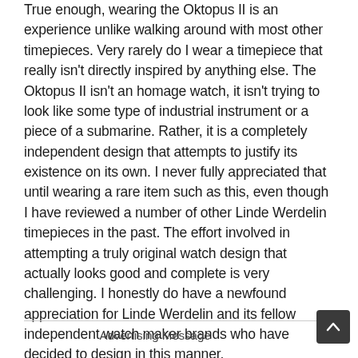True enough, wearing the Oktopus II is an experience unlike walking around with most other timepieces. Very rarely do I wear a timepiece that really isn't directly inspired by anything else. The Oktopus II isn't an homage watch, it isn't trying to look like some type of industrial instrument or a piece of a submarine. Rather, it is a completely independent design that attempts to justify its existence on its own. I never fully appreciated that until wearing a rare item such as this, even though I have reviewed a number of other Linde Werdelin timepieces in the past. The effort involved in attempting a truly original watch design that actually looks good and complete is very challenging. I honestly do have a newfound appreciation for Linde Werdelin and its fellow independent watch maker brands who have decided to design in this manner.
Advertising Message